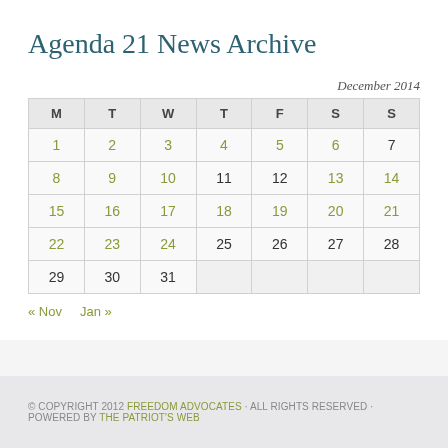Agenda 21 News Archive
| M | T | W | T | F | S | S |
| --- | --- | --- | --- | --- | --- | --- |
| 1 | 2 | 3 | 4 | 5 | 6 | 7 |
| 8 | 9 | 10 | 11 | 12 | 13 | 14 |
| 15 | 16 | 17 | 18 | 19 | 20 | 21 |
| 22 | 23 | 24 | 25 | 26 | 27 | 28 |
| 29 | 30 | 31 |  |  |  |  |
« Nov   Jan »
© COPYRIGHT 2012 FREEDOM ADVOCATES · ALL RIGHTS RESERVED · POWERED BY THE PATRIOT'S WEB